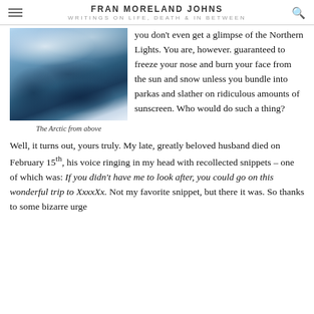FRAN MORELAND JOHNS
WRITINGS ON LIFE, DEATH & IN BETWEEN
[Figure (photo): Aerial photograph of the Arctic, showing snow-capped mountains and cloud formations from above, with blues and whites dominating.]
The Arctic from above
you don't even get a glimpse of the Northern Lights. You are, however. guaranteed to freeze your nose and burn your face from the sun and snow unless you bundle into parkas and slather on ridiculous amounts of sunscreen. Who would do such a thing?
Well, it turns out, yours truly. My late, greatly beloved husband died on February 15th, his voice ringing in my head with recollected snippets – one of which was: If you didn't have me to look after, you could go on this wonderful trip to XxxxXx. Not my favorite snippet, but there it was. So thanks to some bizarre urge